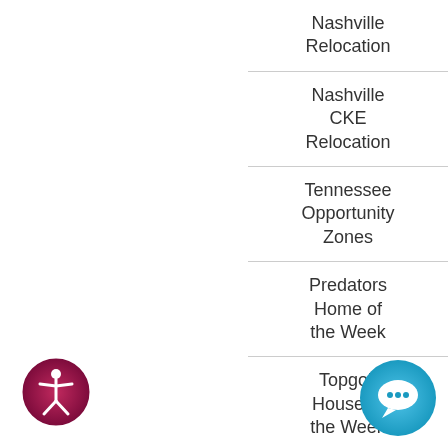Nashville Relocation
Nashville CKE Relocation
Tennessee Opportunity Zones
Predators Home of the Week
Topgolf House of the Week
Ribbon Home